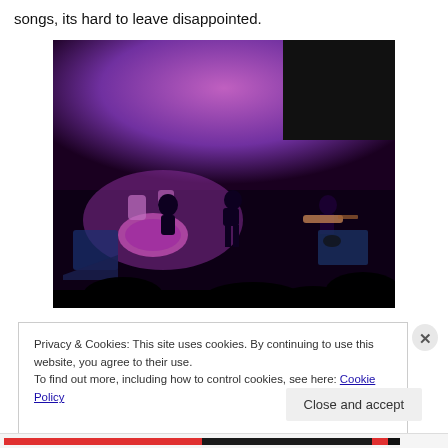songs, its hard to leave disappointed.
[Figure (photo): Concert photo showing a band performing on stage lit with purple/violet lighting. Musicians visible include a guitarist on the right side, a drummer, and other band members. Dark silhouettes of audience members in the foreground.]
Privacy & Cookies: This site uses cookies. By continuing to use this website, you agree to their use.
To find out more, including how to control cookies, see here: Cookie Policy
Close and accept